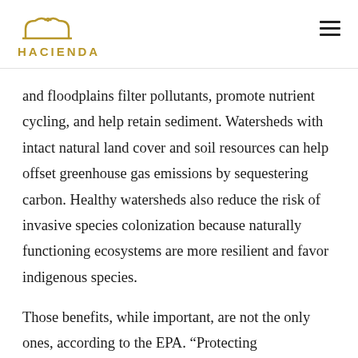HACIENDA
and floodplains filter pollutants, promote nutrient cycling, and help retain sediment. Watersheds with intact natural land cover and soil resources can help offset greenhouse gas emissions by sequestering carbon. Healthy watersheds also reduce the risk of invasive species colonization because naturally functioning ecosystems are more resilient and favor indigenous species.
Those benefits, while important, are not the only ones, according to the EPA. “Protecting